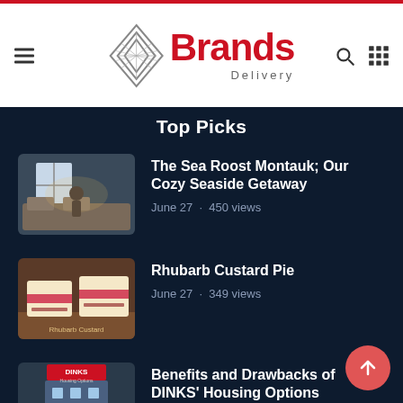[Figure (logo): Brands Delivery logo with chevron diamond shape and red text]
Top Picks
[Figure (photo): Cozy seaside room interior with window]
The Sea Roost Montauk; Our Cozy Seaside Getaway
June 27 · 450 views
[Figure (photo): Rhubarb custard pie slice on a plate]
Rhubarb Custard Pie
June 27 · 349 views
[Figure (photo): DINKS Housing Options building exterior]
Benefits and Drawbacks of DINKS' Housing Options
June 27 · 379 views